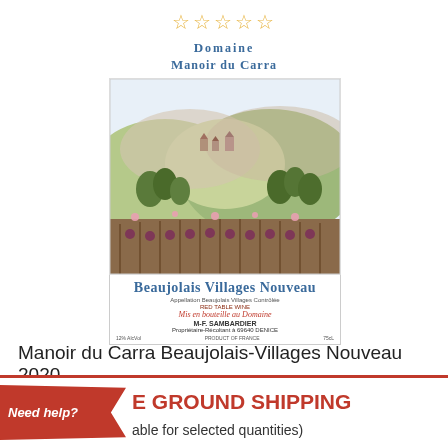[Figure (other): Five empty star rating icons in a row]
[Figure (illustration): Wine bottle label for Domaine Manoir du Carra Beaujolais Villages Nouveau, featuring a watercolor landscape of French countryside with vineyards and hills, text including Beaujolais Villages Nouveau, Red Table Wine, Mis en bouteille au Domaine, M-F. SAMBARDIER, Propriétaire-Récoltant à 69640 DENICE, PRODUCT OF FRANCE, 75CL]
Manoir du Carra Beaujolais-Villages Nouveau 2020
Need help?
E GROUND SHIPPING
able for selected quantities)